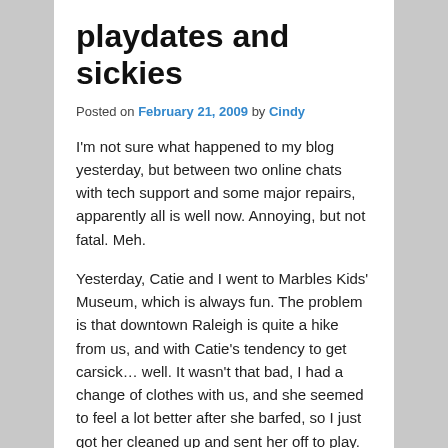playdates and sickies
Posted on February 21, 2009 by Cindy
I'm not sure what happened to my blog yesterday, but between two online chats with tech support and some major repairs, apparently all is well now. Annoying, but not fatal. Meh.
Yesterday, Catie and I went to Marbles Kids' Museum, which is always fun. The problem is that downtown Raleigh is quite a hike from us, and with Catie's tendency to get carsick… well. It wasn't that bad, I had a change of clothes with us, and she seemed to feel a lot better after she barfed, so I just got her cleaned up and sent her off to play. She had a blast.
[Figure (photo): A dark indoor photo, partially visible at the bottom of the page, showing what appears to be a child at Marbles Kids' Museum.]